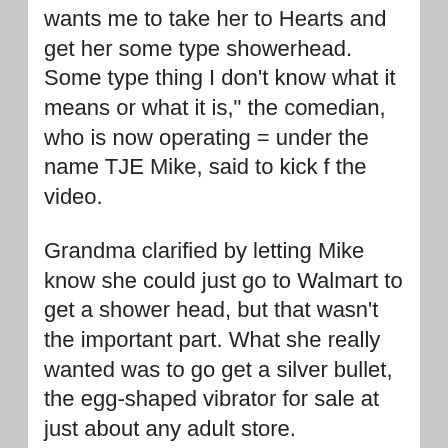wants me to take her to Hearts and get her some type showerhead. Some type thing I don't know what it means or what it is," the comedian, who is now operating = under the name TJE Mike, said to kick f the video.
Grandma clarified by letting Mike know she could just go to Walmart to get a shower head, but that wasn't the important part. What she really wanted was to go get a silver bullet, the egg-shaped vibrator for sale at just about any adult store.
“I get the silver bullet…and then I have to get the big old pack Duracell batteries,” she said. “Because I wham on.”